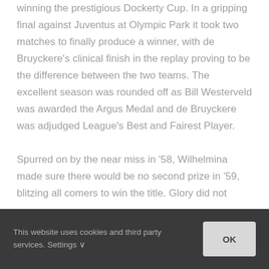winning the prestigious Dockerty Cup. In a gripping final against Juventus at Olympic Park it took two matches to finally produce a winner, with de Bruyckere's clinical finish in the replay proving to be the difference between the two teams. The excellent season was rounded off as Bill Westerveld was awarded the Argus Medal and de Bruyckere was adjudged League's Best and Fairest Player.
Spurred on by the near miss in '58, Wilhelmina made sure there would be no second prize in '59, blitzing all comers to win the title. Glory did not
This website uses cookies and third party services. Settings ∨